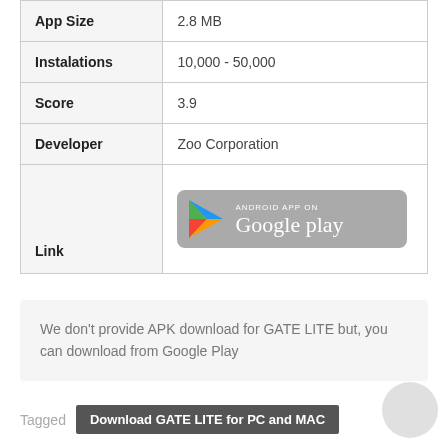| Field | Value |
| --- | --- |
| App Size | 2.8 MB |
| Instalations | 10,000 - 50,000 |
| Score | 3.9 |
| Developer | Zoo Corporation |
| Link | [Google Play Badge] |
We don't provide APK download for GATE LITE but, you can download from Google Play
Tagged   Download GATE LITE for PC and MAC